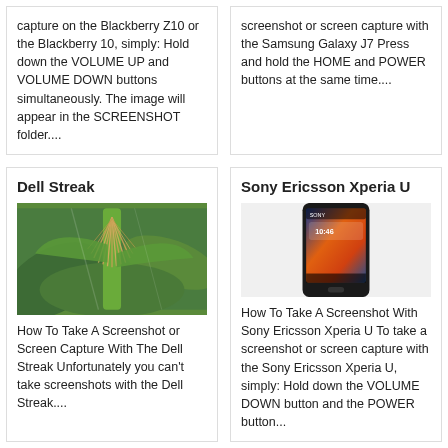capture on the Blackberry Z10 or the Blackberry 10, simply: Hold down the VOLUME UP and VOLUME DOWN buttons simultaneously. The image will appear in the SCREENSHOT folder....
screenshot or screen capture with the Samsung Galaxy J7 Press and hold the HOME and POWER buttons at the same time....
Dell Streak
[Figure (photo): Photo of a corn plant tassel/top in a green field]
How To Take A Screenshot or Screen Capture With The Dell Streak Unfortunately you can't take screenshots with the Dell Streak....
Sony Ericsson Xperia U
[Figure (photo): Photo of a Sony Ericsson Xperia U smartphone showing a colorful lock screen with time 10:46]
How To Take A Screenshot With Sony Ericsson Xperia U To take a screenshot or screen capture with the Sony Ericsson Xperia U, simply: Hold down the VOLUME DOWN button and the POWER button...